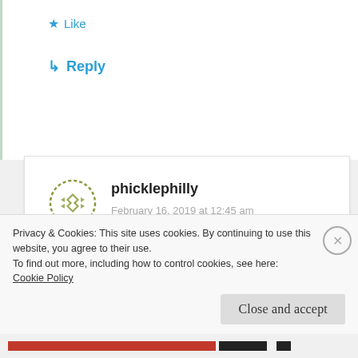★ Like
↳ Reply
[Figure (logo): Circular logo with geometric diamond/cross pattern in olive green dashed border style for user phicklephilly]
phicklephilly
February 16, 2019 at 12:45 am
This is amazing! You have found a wonderful husband! Blessed!
Privacy & Cookies: This site uses cookies. By continuing to use this website, you agree to their use.
To find out more, including how to control cookies, see here:
Cookie Policy
Close and accept